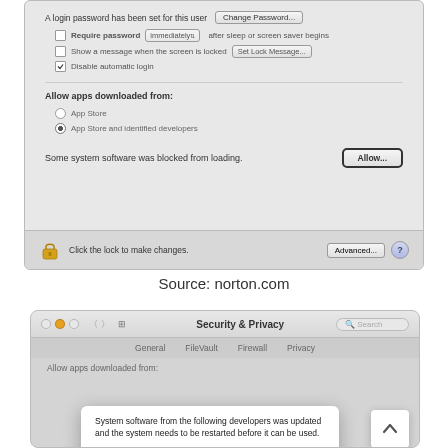[Figure (screenshot): macOS Security & Privacy settings panel showing password options, 'Allow apps downloaded from' section with App Store and identified developers selected, and a 'Some system software was blocked from loading' message with an Allow button. Bottom bar shows lock icon and Advanced/Help buttons.]
Source: norton.com
[Figure (screenshot): macOS Security & Privacy window showing a dialog popup: 'System software from the following developers was updated and the system needs to be restarted before it can be used.' with 'Bitdefender SRL - Updated' listed. A scroll-up button is visible on the right.]